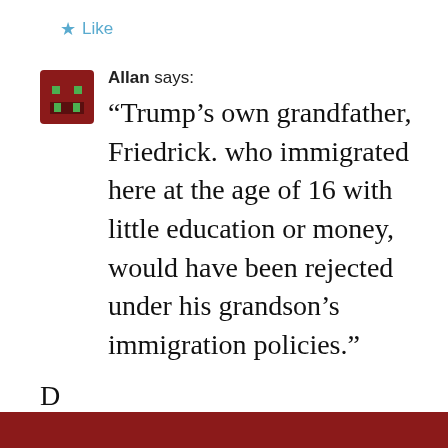[Figure (screenshot): Like button with star icon in teal/blue color]
[Figure (illustration): Pixel-art avatar icon: dark red background with green pixel face]
Allan says:
“Trump’s own grandfather, Friedrick. who immigrated here at the age of 16 with little education or money, would have been rejected under his grandson’s immigration policies.”
D...